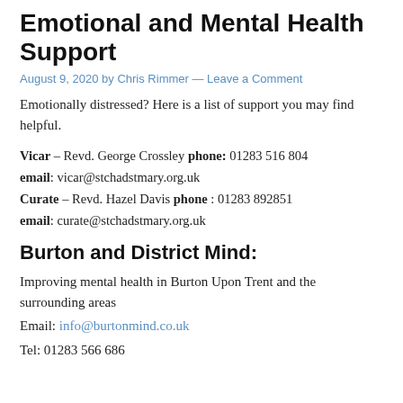Emotional and Mental Health Support
August 9, 2020 by Chris Rimmer — Leave a Comment
Emotionally distressed? Here is a list of support you may find helpful.
Vicar – Revd. George Crossley phone: 01283 516 804
email: vicar@stchadstmary.org.uk
Curate – Revd. Hazel Davis phone : 01283 892851
email: curate@stchadstmary.org.uk
Burton and District Mind:
Improving mental health in Burton Upon Trent and the surrounding areas
Email: info@burtonmind.co.uk
Tel:  01283 566 686